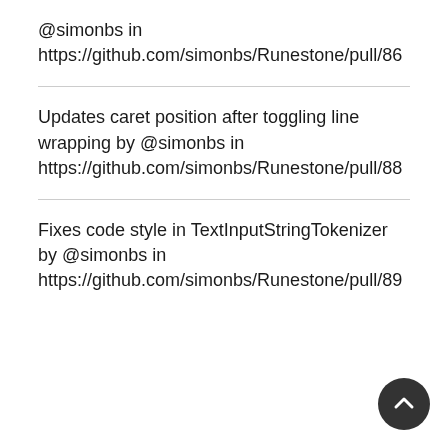@simonbs in https://github.com/simonbs/Runestone/pull/86
Updates caret position after toggling line wrapping by @simonbs in https://github.com/simonbs/Runestone/pull/88
Fixes code style in TextInputStringTokenizer by @simonbs in https://github.com/simonbs/Runestone/pull/89